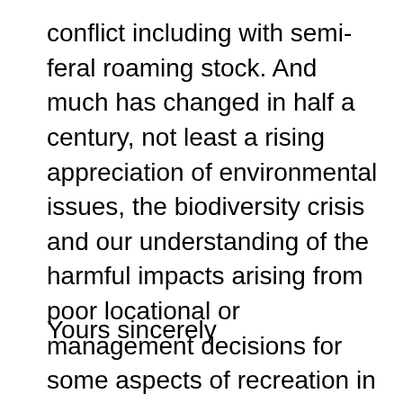conflict including with semi-feral roaming stock. And much has changed in half a century, not least a rising appreciation of environmental issues, the biodiversity crisis and our understanding of the harmful impacts arising from poor locational or management decisions for some aspects of recreation in a fragile landscape. Now could be an opportunity to review historical decisions in that context – it should not be lost. We remain committed to participating in planning a fresh start with camping and working with whoever becomes the operator in the New Forest.
Yours sincerely